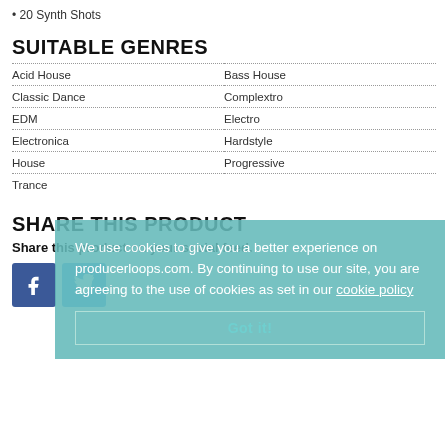20 Synth Shots
SUITABLE GENRES
| Acid House | Bass House |
| Classic Dance | Complextro |
| EDM | Electro |
| Electronica | Hardstyle |
| House | Progressive |
| Trance |  |
SHARE THIS PRODUCT
Share this product on your social feed.
[Figure (other): Facebook share button icon]
[Figure (other): Twitter share button icon]
We use cookies to give you a better experience on producerloops.com. By continuing to use our site, you are agreeing to the use of cookies as set in our [cookie policy link]
Got it!